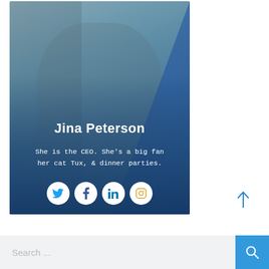[Figure (photo): Profile card for Jina Peterson. A smiling woman with long blonde hair, arms crossed, in an office setting. Blue overlay on image. Shows name, bio text, and social media icons.]
Jina Peterson
She is the CEO. She's a big fan her cat Tux, & dinner parties.
[Figure (infographic): Four circular white social media icons: Twitter (blue bird), Facebook (blue f), LinkedIn (blue in), Instagram (orange/yellow camera outline)]
Search ...